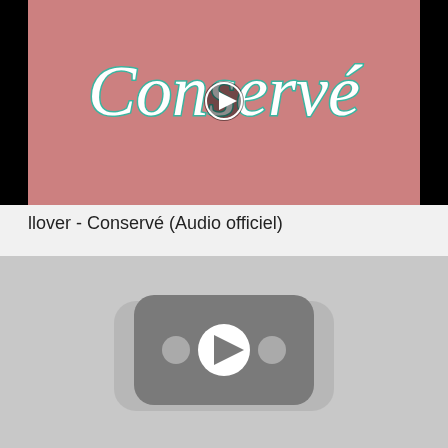[Figure (screenshot): Video thumbnail showing a pink background with cursive white text reading 'Conservé' and a play button overlay. Black bars on left and right sides.]
llover - Conservé (Audio officiel)
[Figure (screenshot): Gray video thumbnail placeholder showing a YouTube-style play button icon (rounded rectangle with play triangle and two dots) centered on a light gray background.]